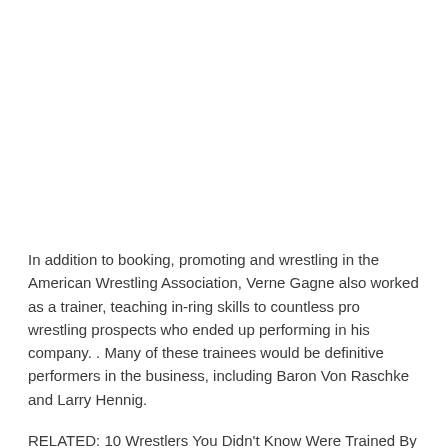In addition to booking, promoting and wrestling in the American Wrestling Association, Verne Gagne also worked as a trainer, teaching in-ring skills to countless pro wrestling prospects who ended up performing in his company. . Many of these trainees would be definitive performers in the business, including Baron Von Raschke and Larry Hennig.
RELATED: 10 Wrestlers You Didn't Know Were Trained By Legends